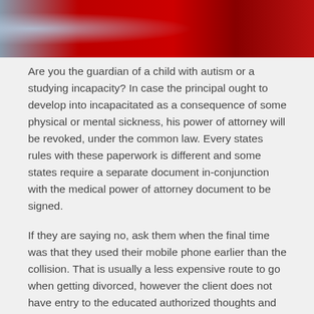[Figure (photo): A photo strip at the top showing a person in front of a red background or red door]
Are you the guardian of a child with autism or a studying incapacity? In case the principal ought to develop into incapacitated as a consequence of some physical or mental sickness, his power of attorney will be revoked, under the common law. Every states rules with these paperwork is different and some states require a separate document in-conjunction with the medical power of attorney document to be signed.
If they are saying no, ask them when the final time was that they used their mobile phone earlier than the collision. That is usually a less expensive route to go when getting divorced, however the client does not have entry to the educated authorized thoughts and experience of a divorce attorney.
Begin your hunt straight away: Look for indications of cellular phone usage on the part of the protection very early on in the case. Some lawyers concentrate in the growing subject of intellectual property, helping to protect clients' claims to